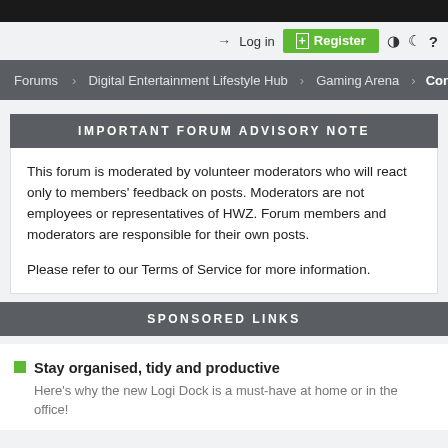Log in  Register
Forums  Digital Entertainment Lifestyle Hub  Gaming Arena  Cons...
IMPORTANT FORUM ADVISORY NOTE
This forum is moderated by volunteer moderators who will react only to members' feedback on posts. Moderators are not employees or representatives of HWZ. Forum members and moderators are responsible for their own posts.

Please refer to our Terms of Service for more information.
SPONSORED LINKS
Stay organised, tidy and productive
Here's why the new Logi Dock is a must-have at home or in the office!